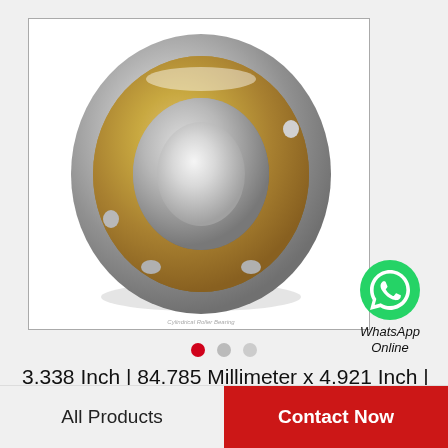[Figure (photo): Cylindrical roller bearing with gold/brass colored cage, chrome steel rings, shown at an angle on white background inside a bordered product image frame]
[Figure (logo): WhatsApp green circle logo with phone handset icon, labeled WhatsApp Online in italic text]
3.338 Inch | 84.785 Millimeter x 4.921 Inch | 125 Millimeter x 1.563 Inch | 39.7 Millimeter LIN…
All Products
Contact Now